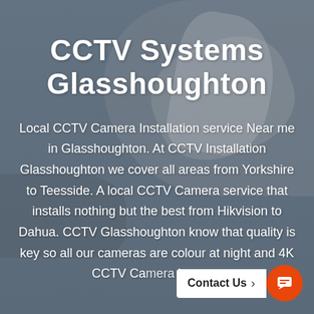[Figure (photo): Background photo of hands holding a CCTV camera or device, overlaid with a dark blue-grey semi-transparent layer]
CCTV Systems Glasshoughton
Local CCTV Camera Installation service Near me in Glasshoughton. At CCTV Installation Glasshoughton we cover all areas from Yorkshire to Teesside. A local CCTV Camera service that installs nothing but the best from Hikvision to Dahua. CCTV Glasshoughton know that quality is key so all our cameras are colour at night and 4K CCTV Camera images.